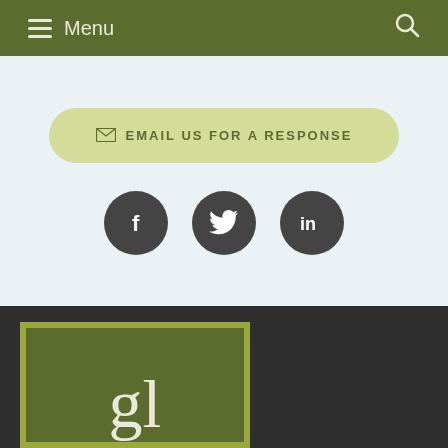Menu
EMAIL US FOR A RESPONSE
[Figure (infographic): Three dark circular social media icons: Facebook (f), Twitter (bird), LinkedIn (in)]
[Figure (logo): Green square logo with 'gl' text in serif font on olive/dark green background with lighter green border]